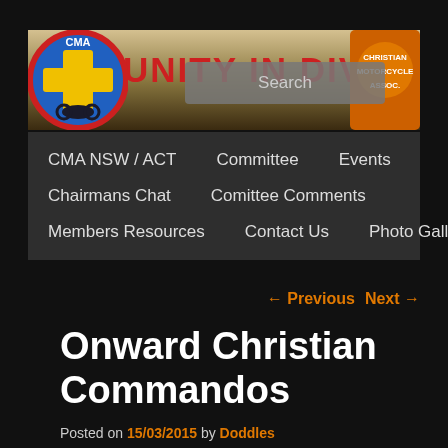[Figure (screenshot): CMA website header banner with 'UNITY IN DIVERSITY' text in red, CMA logo on left (blue circle with yellow cross and motorcycle), and another logo on right. A search bar overlay appears in the center-right of the banner.]
CMA NSW / ACT  |  Committee  |  Events  |  Chairmans Chat  |  Comittee Comments  |  Members Resources  |  Contact Us  |  Photo Galleries
← Previous  Next →
Onward Christian Commandos
Posted on 15/03/2015 by Doddles